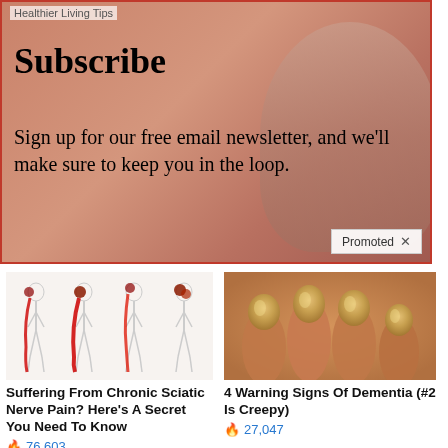[Figure (screenshot): Newsletter subscription ad banner with red border, showing elderly man in background, text 'Subscribe' and 'Sign up for our free email newsletter, and we'll make sure to keep you in the loop.' with 'Healthier Living Tips' label and 'Promoted X' badge]
[Figure (illustration): Medical diagram showing four human body silhouettes with sciatic nerve pain highlighted in red along the leg]
Suffering From Chronic Sciatic Nerve Pain? Here's A Secret You Need To Know
76,603
[Figure (photo): Close-up photo of yellowed fingernails on a hand]
4 Warning Signs Of Dementia (#2 Is Creepy)
27,047